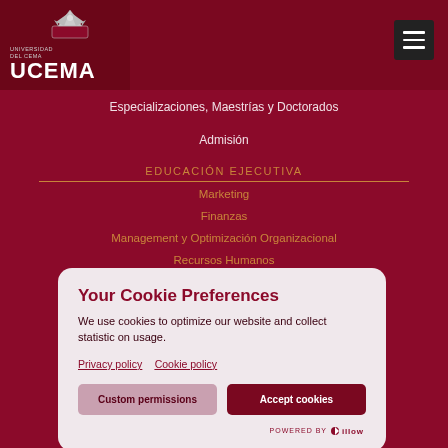[Figure (logo): UCEMA university logo with eagle emblem and text UNIVERSIDAD DEL CEMA / UCEMA]
[Figure (other): Hamburger menu button (three horizontal bars on dark background)]
Especializaciones, Maestrías y Doctorados
Admisión
EDUCACIÓN EJECUTIVA
Marketing
Finanzas
Management y Optimización Organizacional
Recursos Humanos
Your Cookie Preferences
We use cookies to optimize our website and collect statistic on usage.
Privacy policy   Cookie policy
Custom permissions
Accept cookies
POWERED BY illow